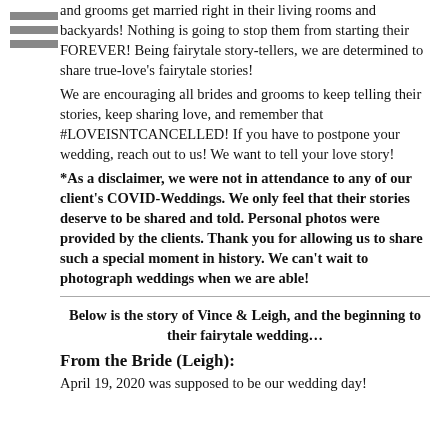and grooms get married right in their living rooms and backyards! Nothing is going to stop them from starting their FOREVER!  Being fairytale story-tellers, we are determined to share true-love's fairytale stories!
We are encouraging all brides and grooms to keep telling their stories, keep sharing love, and remember that #LOVEISNTCANCELLED! If you have to postpone your wedding, reach out to us! We want to tell your love story!
*As a disclaimer, we were not in attendance to any of our client's COVID-Weddings. We only feel that their stories deserve to be shared and told. Personal photos were provided by the clients. Thank you for allowing us to share such a special moment in history. We can't wait to photograph weddings when we are able!
Below is the story of Vince & Leigh, and the beginning to their fairytale wedding…
From the Bride (Leigh):
April 19, 2020 was supposed to be our wedding day!